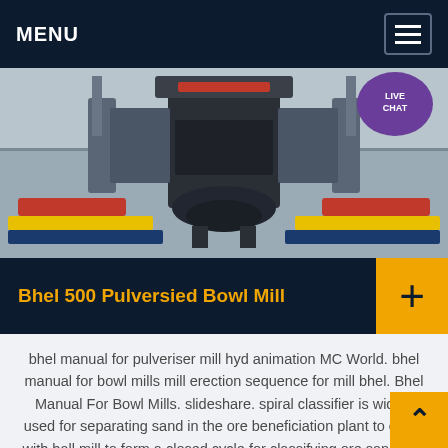MENU
[Figure (photo): Industrial pulveriser bowl mill machine photographed on a factory floor with colored safety barriers (red, yellow, blue) on both sides]
Bhel 500 Pulversied Bowl Mill
bhel manual for pulveriser mill hyd animation MC World. bhel manual for bowl mills mill erection sequence for mill bhel. Bhel Manual For Bowl Mills. slideshare. spiral classifier is widely used for separating sand in the ore beneficiation plant to equip with ball mill to form a closed cycle for classifying ore sand and fine silt in the gravity separation plant for